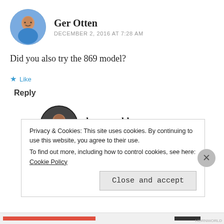Ger Otten
DECEMBER 2, 2016 AT 7:28 AM
Did you also try the 869 model?
Like
Reply
hornworld
DECEMBER 2, 2016 AT 10:05 AM
Hi Ger,
No, I haven't seen an 869 on the US market. Perhaps
Privacy & Cookies: This site uses cookies. By continuing to use this website, you agree to their use.
To find out more, including how to control cookies, see here: Cookie Policy
Close and accept